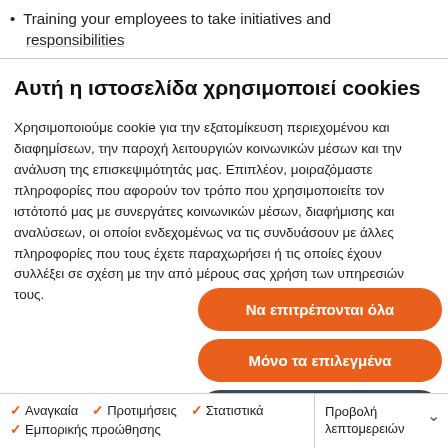Training your employees to take initiatives and responsibilities
Αυτή η ιστοσελίδα χρησιμοποιεί cookies
Χρησιμοποιούμε cookie για την εξατομίκευση περιεχομένου και διαφημίσεων, την παροχή λειτουργιών κοινωνικών μέσων και την ανάλυση της επισκεψιμότητάς μας. Επιπλέον, μοιραζόμαστε πληροφορίες που αφορούν τον τρόπο που χρησιμοποιείτε τον ιστότοπό μας με συνεργάτες κοινωνικών μέσων, διαφήμισης και αναλύσεων, οι οποίοι ενδεχομένως να τις συνδυάσουν με άλλες πληροφορίες που τους έχετε παραχωρήσει ή τις οποίες έχουν συλλέξει σε σχέση με την από μέρους σας χρήση των υπηρεσιών τους.
Να επιτρέπονται όλα
Μόνο τα επιλεγμένα
Μόνο τα απαραίτητα
✓ Αναγκαία  ✓ Προτιμήσεις  ✓ Στατιστικά  ✓ Εμπορικής προώθησης  Προβολή λεπτομερειών